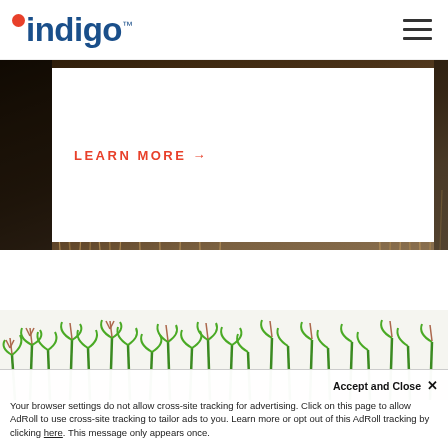indigo™
[Figure (photo): Agricultural banner image showing dark dried grass/crop field with a white card containing a LEARN MORE button with arrow, and left dark strip]
LEARN MORE →
[Figure (photo): Bottom section showing green corn/sorghum crops against a white/light sky background]
Accept and Close ✕
Your browser settings do not allow cross-site tracking for advertising. Click on this page to allow AdRoll to use cross-site tracking to tailor ads to you. Learn more or opt out of this AdRoll tracking by clicking here. This message only appears once.